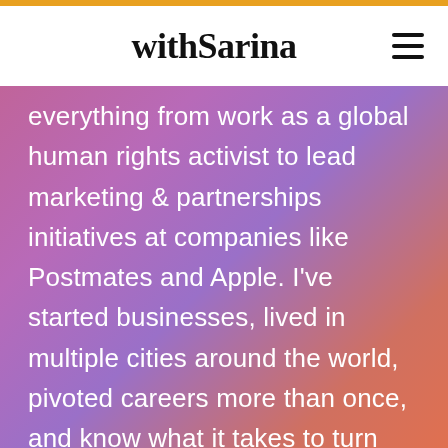withSarina
everything from work as a global human rights activist to lead marketing & partnerships initiatives at companies like Postmates and Apple. I've started businesses, lived in multiple cities around the world, pivoted careers more than once, and know what it takes to turn career goals into a reality. As a career coach & consultant, I'm passionate about sharing all that I've learned with you,